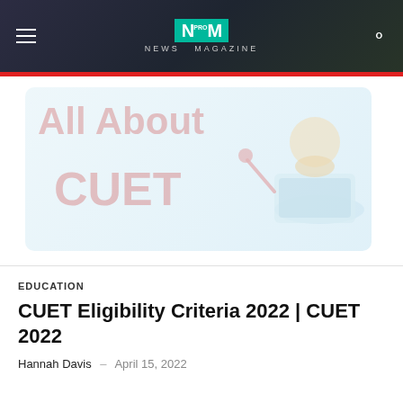NEWS MAGAZINE
[Figure (illustration): Banner image showing 'All About CUET' text in red on a light blue background with a cartoon illustration of a student studying at a laptop]
EDUCATION
CUET Eligibility Criteria 2022 | CUET 2022
Hannah Davis – April 15, 2022